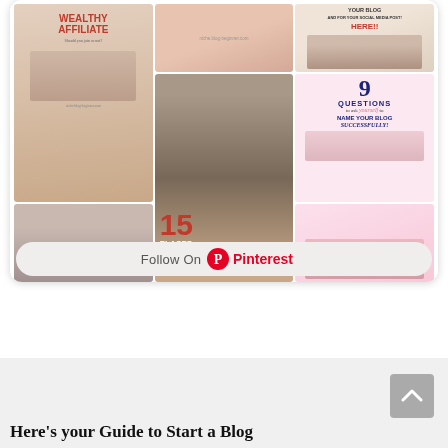[Figure (screenshot): Pinterest widget showing a grid of blog-related pins including '15 Places to get Free Images', '9 Questions to ask yourself to Name Your Blog Successfully', 'Wealthy Affiliate', 'How to Start a Blog', and others. Below the pin grid is a 'Follow On Pinterest' button with the Pinterest logo in red.]
Here’s your Guide to Start a Blog